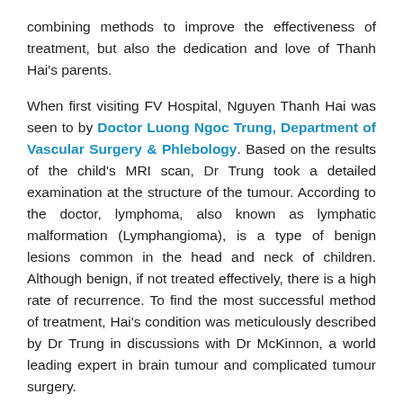combining methods to improve the effectiveness of treatment, but also the dedication and love of Thanh Hai's parents.
When first visiting FV Hospital, Nguyen Thanh Hai was seen to by Doctor Luong Ngoc Trung, Department of Vascular Surgery & Phlebology. Based on the results of the child's MRI scan, Dr Trung took a detailed examination at the structure of the tumour. According to the doctor, lymphoma, also known as lymphatic malformation (Lymphangioma), is a type of benign lesions common in the head and neck of children. Although benign, if not treated effectively, there is a high rate of recurrence. To find the most successful method of treatment, Hai's condition was meticulously described by Dr Trung in discussions with Dr McKinnon, a world leading expert in brain tumour and complicated tumour surgery.
The Children of Vietnam Charitable Fund scheduled Nguyen Thanh Hai to undergo surgery with Dr McKinnon